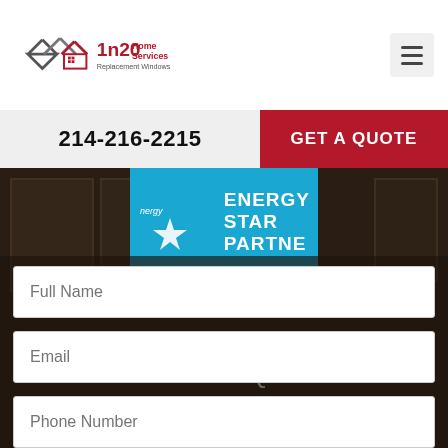[Figure (logo): 1n20 Home Services Replacement Windows logo with red house/mountain icon]
214-216-2215
GET A QUOTE
[Figure (logo): ENERGY STAR PARTNER badge in blue]
Sale Ends Soon... 10-01-2022
GET FREE QUOTE
Full Name
Email
Phone Number